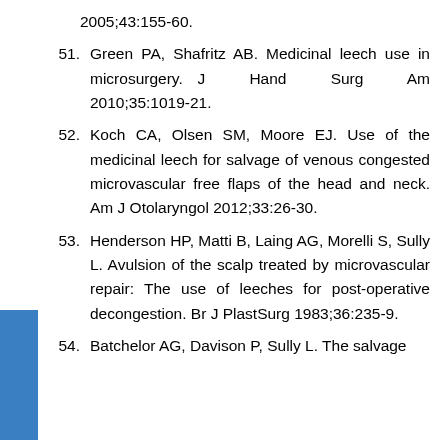2005;43:155-60.
51. Green PA, Shafritz AB. Medicinal leech use in microsurgery. J Hand Surg Am 2010;35:1019-21.
52. Koch CA, Olsen SM, Moore EJ. Use of the medicinal leech for salvage of venous congested microvascular free flaps of the head and neck. Am J Otolaryngol 2012;33:26-30.
53. Henderson HP, Matti B, Laing AG, Morelli S, Sully L. Avulsion of the scalp treated by microvascular repair: The use of leeches for post-operative decongestion. Br J PlastSurg 1983;36:235-9.
54. Batchelor AG, Davison P, Sully L. The salvage